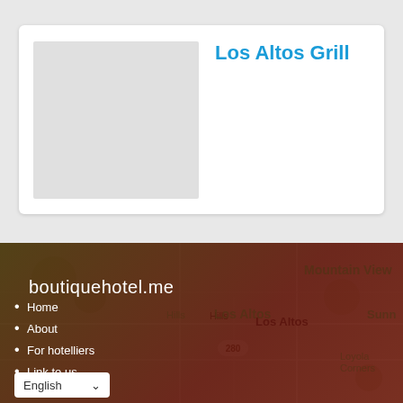Los Altos Grill
[Figure (screenshot): Website footer section with boutiquehotel.me logo, navigation links (Home, About, For hotelliers, Link to us), English language selector, over a dark-tinted map background showing Mountain View, Los Altos, Loyola Corners, Sunnyvale area.]
Home
About
For hotelliers
Link to us